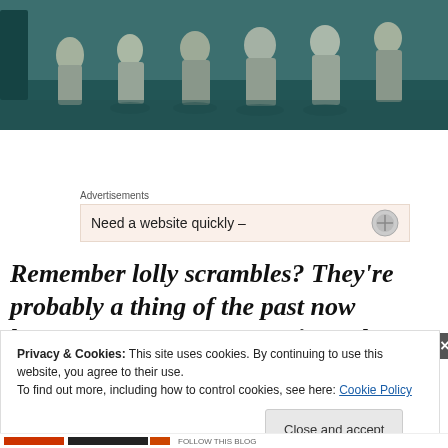[Figure (photo): Vintage black-and-white photograph with teal tint showing children playing outdoors, possibly at a lolly scramble event, several girls in dresses bending down.]
Advertisements
Need a website quickly –
Remember lolly scrambles? They're probably a thing of the past now because everyone's so precious about OHS
Privacy & Cookies: This site uses cookies. By continuing to use this website, you agree to their use.
To find out more, including how to control cookies, see here: Cookie Policy
Close and accept